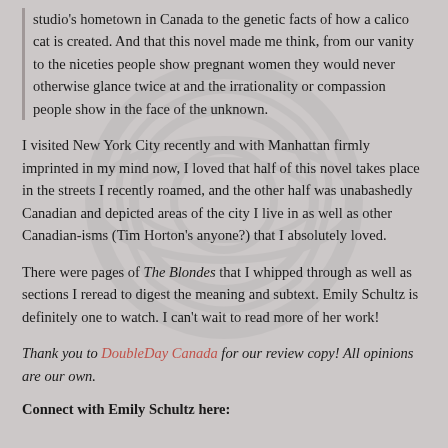studio's hometown in Canada to the genetic facts of how a calico cat is created. And that this novel made me think, from our vanity to the niceties people show pregnant women they would never otherwise glance twice at and the irrationality or compassion people show in the face of the unknown.
I visited New York City recently and with Manhattan firmly imprinted in my mind now, I loved that half of this novel takes place in the streets I recently roamed, and the other half was unabashedly Canadian and depicted areas of the city I live in as well as other Canadian-isms (Tim Horton's anyone?) that I absolutely loved.
There were pages of The Blondes that I whipped through as well as sections I reread to digest the meaning and subtext. Emily Schultz is definitely one to watch. I can't wait to read more of her work!
Thank you to DoubleDay Canada for our review copy! All opinions are our own.
Connect with Emily Schultz here: